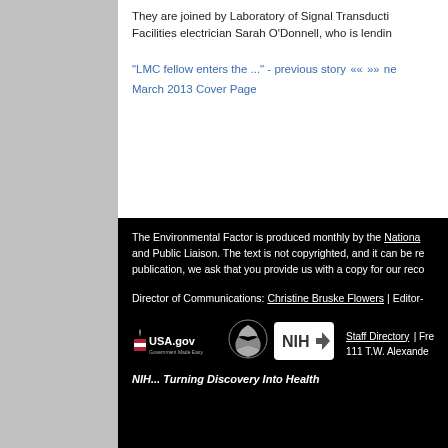They are joined by Laboratory of Signal Transduction Facilities electrician Sarah O'Donnell, who is lending...
"LMC fellow enters the ..." - previous story «« »» next
March 2013 Cover Page
The Environmental Factor is produced monthly by the National... and Public Liaison. The text is not copyrighted, and it can be reproduced. publication, we ask that you provide us with a copy for our records.
Director of Communications: Christine Bruske Flowers | Editor-...
[Figure (logo): USA.gov logo, HHS eagle logo, NIH logo]
Staff Directory | Fre... 111 T.W. Alexander...
NIH... Turning Discovery Into Health